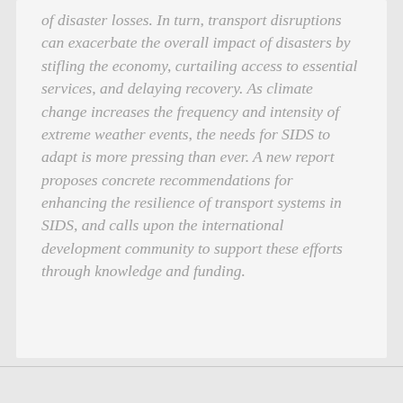of disaster losses. In turn, transport disruptions can exacerbate the overall impact of disasters by stifling the economy, curtailing access to essential services, and delaying recovery. As climate change increases the frequency and intensity of extreme weather events, the needs for SIDS to adapt is more pressing than ever. A new report proposes concrete recommendations for enhancing the resilience of transport systems in SIDS, and calls upon the international development community to support these efforts through knowledge and funding.